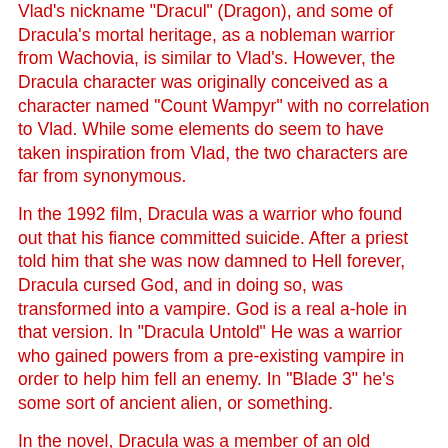Vlad's nickname "Dracul" (Dragon), and some of Dracula's mortal heritage, as a nobleman warrior from Wachovia, is similar to Vlad's. However, the Dracula character was originally conceived as a character named "Count Wampyr" with no correlation to Vlad. While some elements do seem to have taken inspiration from Vlad, the two characters are far from synonymous.
In the 1992 film, Dracula was a warrior who found out that his fiance committed suicide. After a priest told him that she was now damned to Hell forever, Dracula cursed God, and in doing so, was transformed into a vampire. God is a real a-hole in that version. In "Dracula Untold" He was a warrior who gained powers from a pre-existing vampire in order to help him fell an enemy. In "Blade 3" he's some sort of ancient alien, or something.
In the novel, Dracula was a member of an old Romanian noble class, called a Boyar, something he seems to be proud of, and mentions his status as a Boyar multiple times. He was a warrior, and mentions that the Draculas had a love of war and bloodshed. He was initiated as a student into a satanic school of sorcery. But the catch 22, every 10th...